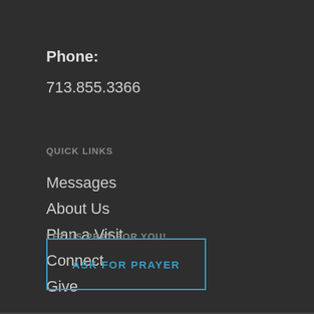Phone:
713.855.3366
QUICK LINKS
Messages
About Us
Plan a Visit
Connect
Give
LET US PRAY FOR YOU!
ASK FOR PRAYER